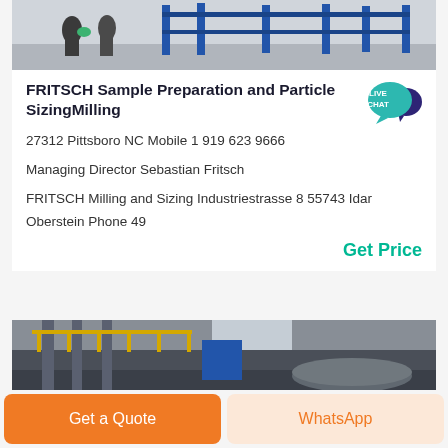[Figure (photo): Industrial milling equipment with blue metal frame structures in a warehouse/factory setting, people visible in background]
FRITSCH Sample Preparation and Particle SizingMilling
[Figure (logo): Live Chat speech bubble badge in teal/dark blue colors with text LIVE CHAT]
27312 Pittsboro NC Mobile 1 919 623 9666
Managing Director Sebastian Fritsch
FRITSCH Milling and Sizing Industriestrasse 8 55743 Idar Oberstein Phone 49
Get Price
[Figure (photo): Industrial milling facility interior showing large pipes, yellow safety railings, ducts and industrial equipment]
Get a Quote
WhatsApp